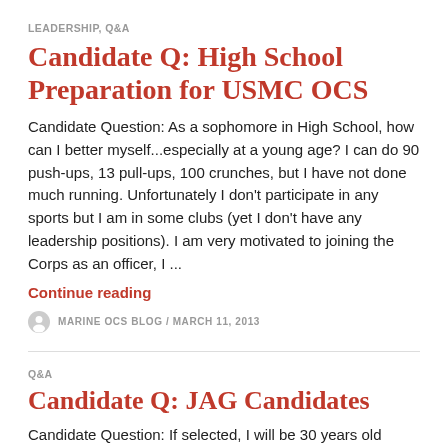LEADERSHIP, Q&A
Candidate Q: High School Preparation for USMC OCS
Candidate Question: As a sophomore in High School, how can I better myself...especially at a young age? I can do 90 push-ups, 13 pull-ups, 100 crunches, but I have not done much running. Unfortunately I don't participate in any sports but I am in some clubs (yet I don't have any leadership positions). I am very motivated to joining the Corps as an officer, I ...
Continue reading
MARINE OCS BLOG / MARCH 11, 2013
Q&A
Candidate Q: JAG Candidates
Candidate Question: If selected, I will be 30 years old